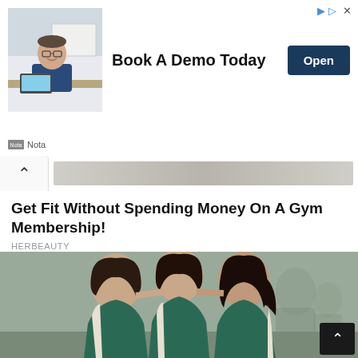[Figure (infographic): Advertisement banner showing a man sitting at a desk with text 'Book A Demo Today' and an 'Open' button, branded as Nota]
Get Fit Without Spending Money On A Gym Membership!
HERBEAUTY
[Figure (photo): Three young Asian women in green tracksuits huddled together looking downward, in a blurry indoor setting]